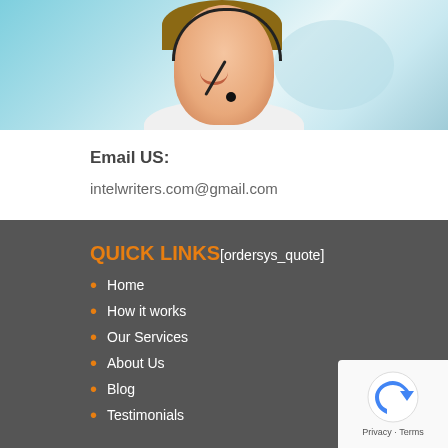[Figure (photo): Customer service woman wearing a headset, smiling, with a light blue background]
Email US:
intelwriters.com@gmail.com
QUICK LINKS[ordersys_quote]
Home
How it works
Our Services
About Us
Blog
Testimonials